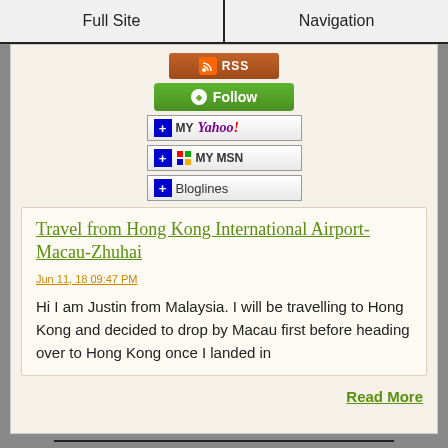Full Site | Navigation
[Figure (screenshot): Social/RSS subscription buttons: RSS feed button (brown), Follow button (green), My Yahoo! button, My MSN button, Bloglines button]
Travel from Hong Kong International Airport-Macau-Zhuhai
Jun 11, 18 09:47 PM
Hi I am Justin from Malaysia. I will be travelling to Hong Kong and decided to drop by Macau first before heading over to Hong Kong once I landed in
Read More